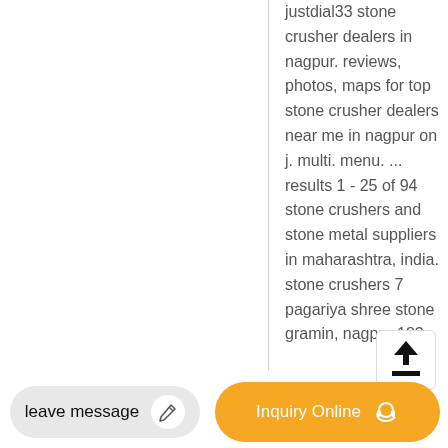justdial33 stone crusher dealers in nagpur. reviews, photos, maps for top stone crusher dealers near me in nagpur on j. multi. menu. ... results 1 - 25 of 94 stone crushers and stone metal suppliers in maharashtra, india. stone crushers 7 pagariya shree stone gramin, nagpur 183
[Figure (screenshot): Upload/share button icon - arrow pointing up with a line underneath]
leave message
Inquiry Online